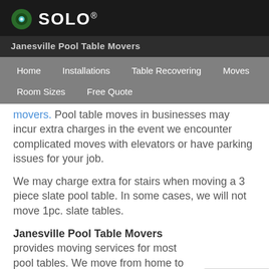SOLO®
Janesville Pool Table Movers
Home  Installations  Table Recovering  Moves  Room Sizes  Free Quote
movers. Pool table moves in businesses may incur extra charges in the event we encounter complicated moves with elevators or have parking issues for your job.
We may charge extra for stairs when moving a 3 piece slate pool table. In some cases, we will not move 1pc. slate tables.
Janesville Pool Table Movers provides moving services for most pool tables. We move from home to home, business to business or garage to